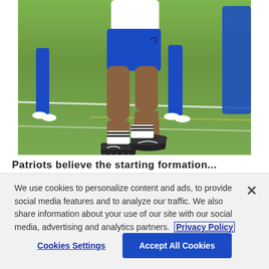[Figure (photo): Football players on a grass practice field. Close-up of legs and cleats of players in blue shorts and white shirts during training camp. One player in the foreground is mid-stride wearing black Nike cleats and white socks.]
Patriots believe the starting formation...
We use cookies to personalize content and ads, to provide social media features and to analyze our traffic. We also share information about your use of our site with our social media, advertising and analytics partners. Privacy Policy
Cookies Settings
Accept All Cookies